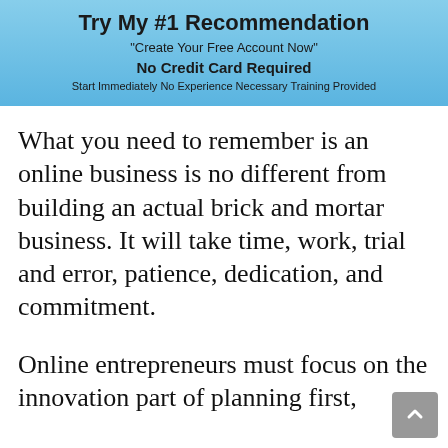[Figure (infographic): Blue gradient banner with text: Try My #1 Recommendation, 'Create Your Free Account Now', No Credit Card Required, Start Immediately No Experience Necessary Training Provided]
What you need to remember is an online business is no different from building an actual brick and mortar business. It will take time, work, trial and error, patience, dedication, and commitment.
Online entrepreneurs must focus on the innovation part of planning first,